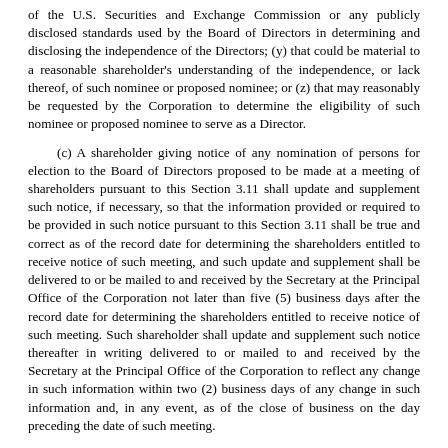of the U.S. Securities and Exchange Commission or any publicly disclosed standards used by the Board of Directors in determining and disclosing the independence of the Directors; (y) that could be material to a reasonable shareholder's understanding of the independence, or lack thereof, of such nominee or proposed nominee; or (z) that may reasonably be requested by the Corporation to determine the eligibility of such nominee or proposed nominee to serve as a Director.
(c) A shareholder giving notice of any nomination of persons for election to the Board of Directors proposed to be made at a meeting of shareholders pursuant to this Section 3.11 shall update and supplement such notice, if necessary, so that the information provided or required to be provided in such notice pursuant to this Section 3.11 shall be true and correct as of the record date for determining the shareholders entitled to receive notice of such meeting, and such update and supplement shall be delivered to or be mailed to and received by the Secretary at the Principal Office of the Corporation not later than five (5) business days after the record date for determining the shareholders entitled to receive notice of such meeting. Such shareholder shall update and supplement such notice thereafter in writing delivered to or mailed to and received by the Secretary at the Principal Office of the Corporation to reflect any change in such information within two (2) business days of any change in such information and, in any event, as of the close of business on the day preceding the date of such meeting.